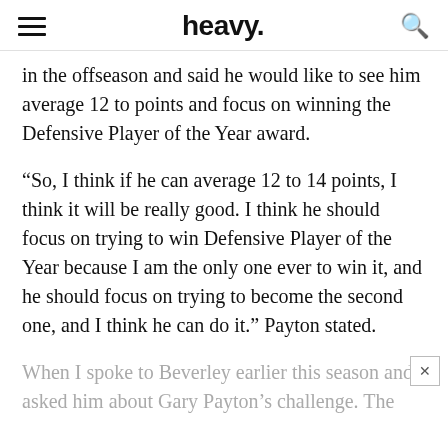heavy.
in the offseason and said he would like to see him average 12 to points and focus on winning the Defensive Player of the Year award.
“So, I think if he can average 12 to 14 points, I think it will be really good. I think he should focus on trying to win Defensive Player of the Year because I am the only one ever to win it, and he should focus on trying to become the second one, and I think he can do it.” Payton stated.
When I spoke to Beverley earlier this season and asked him about Gary Payton’s challenge. The